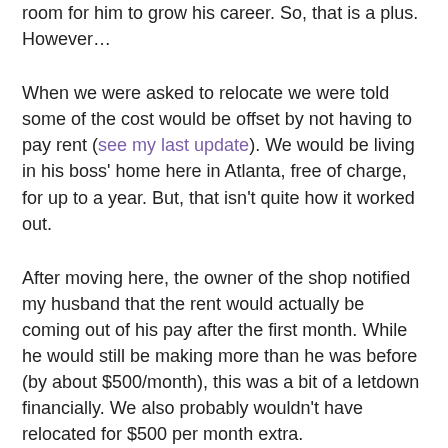room for him to grow his career. So, that is a plus. However…
When we were asked to relocate we were told some of the cost would be offset by not having to pay rent (see my last update). We would be living in his boss' home here in Atlanta, free of charge, for up to a year. But, that isn't quite how it worked out.
After moving here, the owner of the shop notified my husband that the rent would actually be coming out of his pay after the first month. While he would still be making more than he was before (by about $500/month), this was a bit of a letdown financially. We also probably wouldn't have relocated for $500 per month extra.
Additionally, the landlord/boss made it clear he is expecting us to fix up his home while we live here and it would be